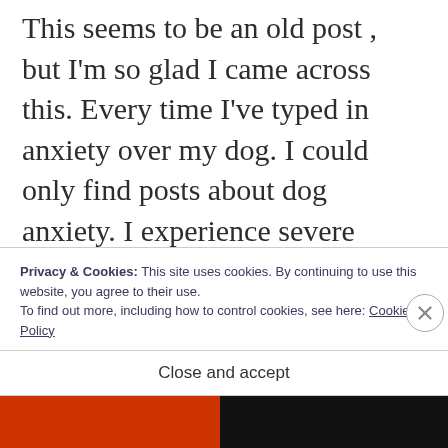This seems to be an old post , but I'm so glad I came across this. Every time I've typed in anxiety over my dog. I could only find posts about dog anxiety. I experience severe panic attacks and anxiety in day to day life. I check light switches , my car windows , gas stove and all the locks in the house 3 times every time I leave home. My husbands dog lived with my in laws
Privacy & Cookies: This site uses cookies. By continuing to use this website, you agree to their use.
To find out more, including how to control cookies, see here: Cookie Policy
Close and accept